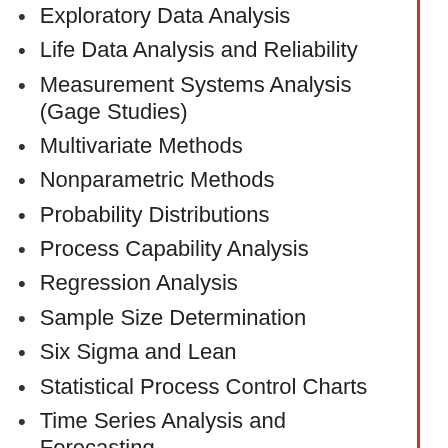Exploratory Data Analysis
Life Data Analysis and Reliability
Measurement Systems Analysis (Gage Studies)
Multivariate Methods
Nonparametric Methods
Probability Distributions
Process Capability Analysis
Regression Analysis
Sample Size Determination
Six Sigma and Lean
Statistical Process Control Charts
Time Series Analysis and Forecasting